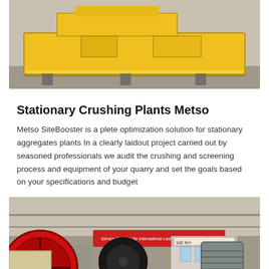[Figure (photo): Yellow stationary crushing plant machine on a concrete floor inside an industrial facility.]
Stationary Crushing Plants Metso
Metso SiteBooster is a plete optimization solution for stationary aggregates plants In a clearly laidout project carried out by seasoned professionals we audit the crushing and screening process and equipment of your quarry and set the goals based on your specifications and budget
[Figure (photo): Industrial jaw crusher machinery with large red flywheel and silver/grey belt drive components, inside a factory or warehouse with Chinese signage visible in the background.]